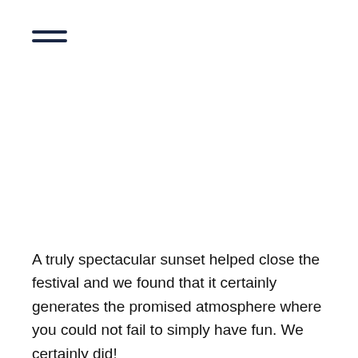≡
A truly spectacular sunset helped close the festival and we found that it certainly generates the promised atmosphere where you could not fail to simply have fun. We certainly did!
On the way to Thargomindah we were graphically shown what the country can look like after rains and the underlying reality that this drought was not broken.